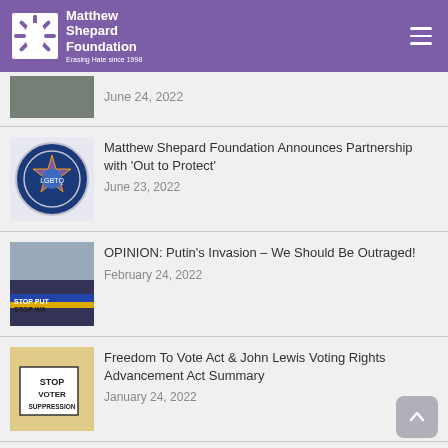Matthew Shepard Foundation — Erasing Hate since 1998
June 24, 2022
Matthew Shepard Foundation Announces Partnership with 'Out to Protect'
June 23, 2022
OPINION: Putin's Invasion – We Should Be Outraged!
February 24, 2022
Freedom To Vote Act & John Lewis Voting Rights Advancement Act Summary
January 24, 2022
Donor Highlight: Jonathan Adkins
December 15, 2021